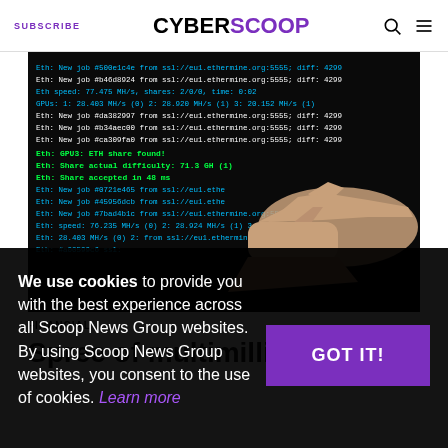SUBSCRIBE | CYBERSCOOP
[Figure (photo): A hand pointing at a dark computer screen displaying cryptocurrency mining terminal output with green and white text showing Ethereum mining job hashes, GPU speeds, and share confirmations.]
FINANCIAL
Spree of multimillion...
We use cookies to provide you with the best experience across all Scoop News Group websites. By using Scoop News Group websites, you consent to the use of cookies. Learn more
GOT IT!